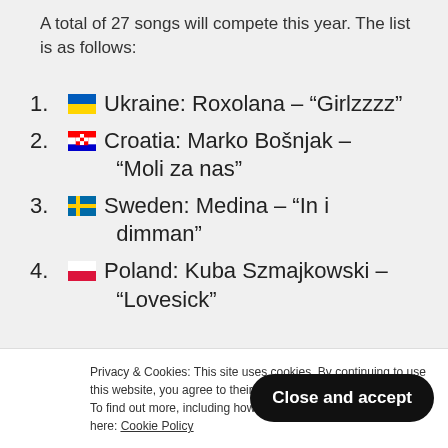A total of 27 songs will compete this year. The list is as follows:
1. Ukraine: Roxolana – “Girlzzzz”
2. Croatia: Marko Bošnjak – “Moli za nas”
3. Sweden: Medina – “In i dimman”
4. Poland: Kuba Szmajkowski – “Lovesick”
Privacy & Cookies: This site uses cookies. By continuing to use this website, you agree to their use. To find out more, including how to control cookies, see here: Cookie Policy
Close and accept